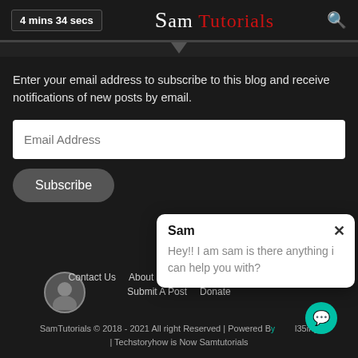4 mins 34 secs | Sam Tutorials
Enter your email address to subscribe to this blog and receive notifications of new posts by email.
Email Address
Subscribe
[Figure (screenshot): Chat popup with Sam avatar, name Sam, message: Hey!! I am sam is there anything i can help you with?]
Contact Us | About us | Privacy Policy | Site map | Submit A Post | Donate
SamTutorials © 2018 - 2021 All right Reserved | Powered By Bl33Sing | Techstoryhow is Now Samtutorials